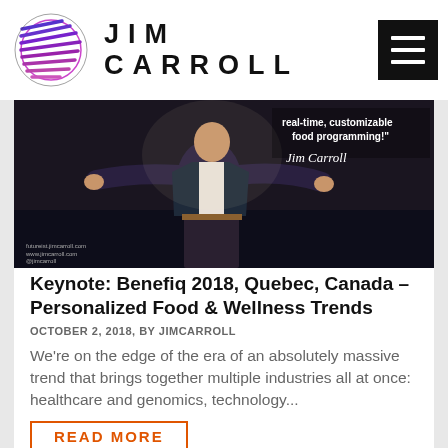JIM CARROLL
[Figure (photo): Jim Carroll speaking on stage at Benefiq 2018, arms outstretched, with text overlay reading 'real-time, customizable food programming!' and a signature]
Keynote: Benefiq 2018, Quebec, Canada – Personalized Food & Wellness Trends
OCTOBER 2, 2018, BY JIMCARROLL
We're on the edge of the era of an absolutely massive trend that brings together multiple industries all at once: healthcare and genomics, technology...
READ MORE